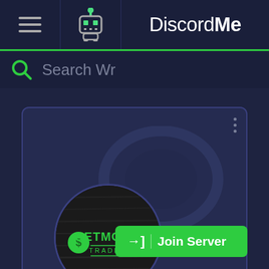[Figure (screenshot): DiscordMe website screenshot showing navigation bar with hamburger menu, robot icon, and DiscordMe logo]
Search Wr
[Figure (screenshot): Server listing card with Discord watermark icon and GetMoney Traders server logo circle]
→| Join Server